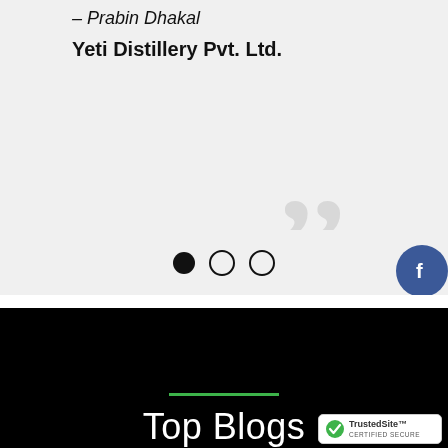– Prabin Dhakal
Yeti Distillery Pvt. Ltd.
[Figure (illustration): Large decorative closing quotation marks in light gray]
[Figure (illustration): Carousel pagination dots: one filled black dot and two empty circle dots]
[Figure (illustration): Social media icons: Facebook (blue circle with F), Twitter (blue circle with bird), LinkedIn (blue circle with in)]
Top Blogs
[Figure (logo): TrustedSite certified secure badge]